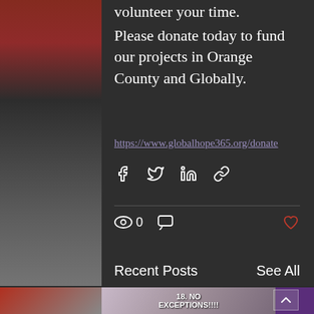volunteer your time.
Please donate today to fund our projects in Orange County and Globally.
https://www.globalhope365.org/donate
0
Recent Posts
See All
[Figure (photo): Website screenshot showing a blog post with social sharing icons, view/comment counts, recent posts section, and an image preview showing text '18. NO EXCEPTIONS!!!!' overlaid on a photo of a person in a headscarf]
18. NO EXCEPTIONS!!!!